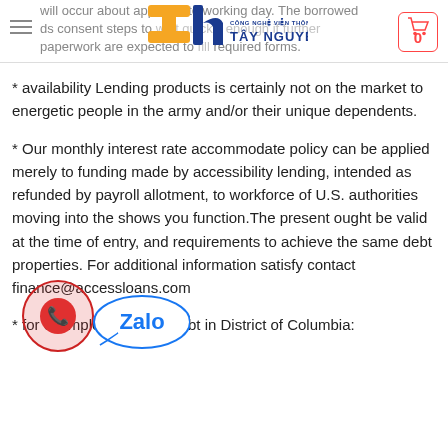will occur about appropriate working day. The borrowed ds consent steps to wait quickly enough if further paperwork are expected to fill required forms.
[Figure (logo): Tây Nguyên Công Nghệ Viễn Thông logo with orange T, blue h, text]
* availability Lending products is certainly not on the market to energetic people in the army and/or their unique dependents.
* Our monthly interest rate accommodate policy can be applied merely to funding made by accessibility lending, intended as refunded by payroll allotment, to workforce of U.S. authorities moving into the shows you function.The present ought be valid at the time of entry, and requirements to achieve the same debt properties. For additional information satisfy contact finance@accessloans.com
* for example, a $2,000 debt in District of Columbia: